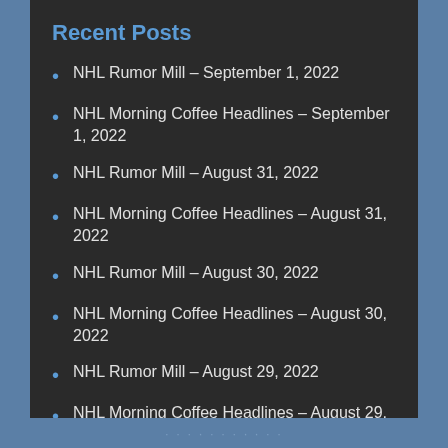Recent Posts
NHL Rumor Mill – September 1, 2022
NHL Morning Coffee Headlines – September 1, 2022
NHL Rumor Mill – August 31, 2022
NHL Morning Coffee Headlines – August 31, 2022
NHL Rumor Mill – August 30, 2022
NHL Morning Coffee Headlines – August 30, 2022
NHL Rumor Mill – August 29, 2022
NHL Morning Coffee Headlines – August 29, 2022
· · · · · · · · · · ·